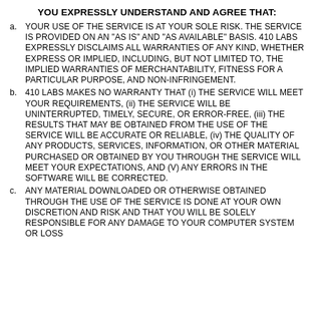YOU EXPRESSLY UNDERSTAND AND AGREE THAT:
a. YOUR USE OF THE SERVICE IS AT YOUR SOLE RISK. THE SERVICE IS PROVIDED ON AN "AS IS" AND "AS AVAILABLE" BASIS. 410 LABS EXPRESSLY DISCLAIMS ALL WARRANTIES OF ANY KIND, WHETHER EXPRESS OR IMPLIED, INCLUDING, BUT NOT LIMITED TO, THE IMPLIED WARRANTIES OF MERCHANTABILITY, FITNESS FOR A PARTICULAR PURPOSE, AND NON-INFRINGEMENT.
b. 410 LABS MAKES NO WARRANTY THAT (i) THE SERVICE WILL MEET YOUR REQUIREMENTS, (ii) THE SERVICE WILL BE UNINTERRUPTED, TIMELY, SECURE, OR ERROR-FREE, (iii) THE RESULTS THAT MAY BE OBTAINED FROM THE USE OF THE SERVICE WILL BE ACCURATE OR RELIABLE, (iv) THE QUALITY OF ANY PRODUCTS, SERVICES, INFORMATION, OR OTHER MATERIAL PURCHASED OR OBTAINED BY YOU THROUGH THE SERVICE WILL MEET YOUR EXPECTATIONS, AND (V) ANY ERRORS IN THE SOFTWARE WILL BE CORRECTED.
c. ANY MATERIAL DOWNLOADED OR OTHERWISE OBTAINED THROUGH THE USE OF THE SERVICE IS DONE AT YOUR OWN DISCRETION AND RISK AND THAT YOU WILL BE SOLELY RESPONSIBLE FOR ANY DAMAGE TO YOUR COMPUTER SYSTEM OR LOSS...